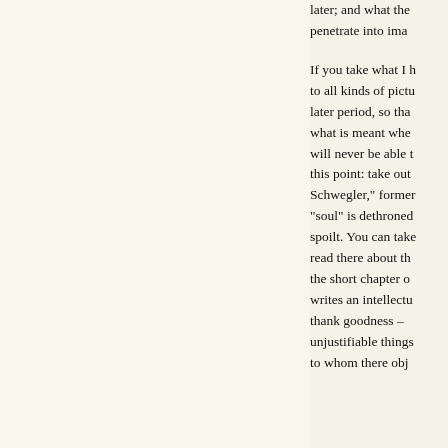later; and what the penetrate into ima
If you take what I h to all kinds of pictu later period, so tha what is meant whe will never be able t this point: take out Schwegler," former "soul" is dethroned spoilt. You can take read there about th the short chapter o writes an intellectu thank goodness – unjustifiable things to whom there obj